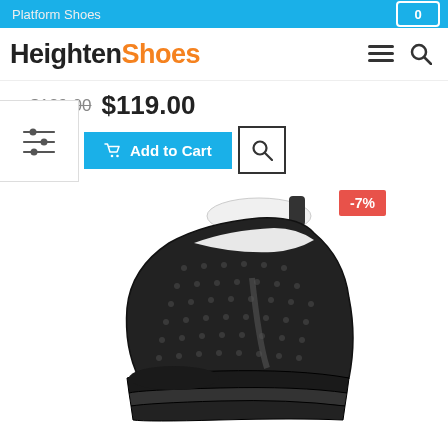Platform Shoes
HeightenShoes
$129.00 $119.00
Add to Cart
[Figure (photo): Black platform wedge sneaker shoe with studded perforations, white interior lining, on a thick black sole. Discount badge showing -7% in red.]